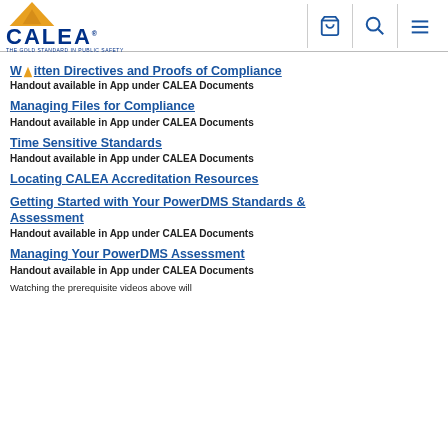CALEA - THE GOLD STANDARD IN PUBLIC SAFETY
Written Directives and Proofs of Compliance
Handout available in App under CALEA Documents
Managing Files for Compliance
Handout available in App under CALEA Documents
Time Sensitive Standards
Handout available in App under CALEA Documents
Locating CALEA Accreditation Resources
Getting Started with Your PowerDMS Standards & Assessment
Handout available in App under CALEA Documents
Managing Your PowerDMS Assessment
Handout available in App under CALEA Documents
Watching the prerequisite videos above will